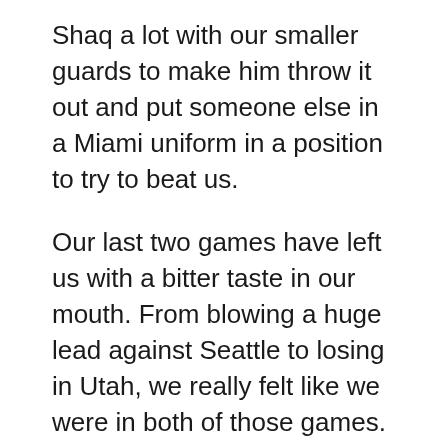Shaq a lot with our smaller guards to make him throw it out and put someone else in a Miami uniform in a position to try to beat us.
Our last two games have left us with a bitter taste in our mouth. From blowing a huge lead against Seattle to losing in Utah, we really felt like we were in both of those games. We should have won against Seattle, and we had a real shot at spoiling Jerry Sloan's 65th birthday when we played Utah a few nights ago.
If the MVP ballotiing were today and if I had a vote, I would have to go with Dirk Nowitzki. He's just done so much this season and the Dallas Mavericks are the best team in the NBA. Although you have to give Kobe and